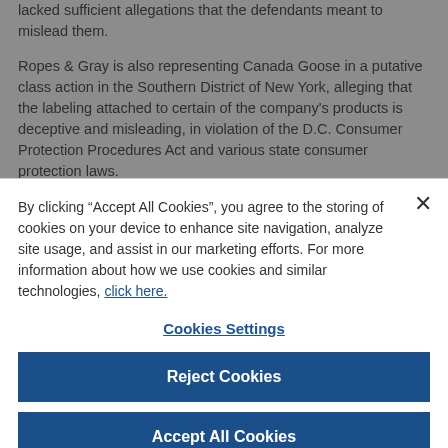lacked sufficient allegations that the defendants meant to mislead them.
Ropes & Gray is also representing Canada Goose in a putative class action in the Southern District of New York, alleging that the labeling attached to certain of the company's products is deceptive and misleading, in violation of the D.C. Consumer Protection Procedures Act and various state consumer protection laws.
In addition to Marty and Rob, the Ropes & Gray team also
By clicking “Accept All Cookies”, you agree to the storing of cookies on your device to enhance site navigation, analyze site usage, and assist in our marketing efforts. For more information about how we use cookies and similar technologies, click here.
Cookies Settings
Reject Cookies